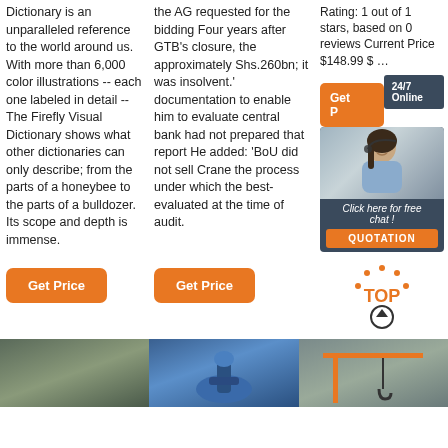Dictionary is an unparalleled reference to the world around us. With more than 6,000 color illustrations -- each one labeled in detail -- The Firefly Visual Dictionary shows what other dictionaries can only describe; from the parts of a honeybee to the parts of a bulldozer. Its scope and depth is immense.
the AG requested for the bidding Four years after GTB's closure, the approximately Shs.260bn; it was insolvent.' documentation to enable him to evaluate central bank had not prepared that report He added: 'BoU did not sell Crane the process under which the best-evaluated at the time of audit.
Rating: 1 out of 1 stars, based on 0 reviews Current Price $148.99 $ …
[Figure (screenshot): Orange Get Price button (partially visible)]
[Figure (screenshot): 24/7 Online ad box with woman in headset, Click here for free chat!, QUOTATION button]
[Figure (screenshot): Get Price orange button below left column]
[Figure (screenshot): Get Price orange button below middle column]
[Figure (screenshot): TOP logo with up arrow]
[Figure (photo): Dark industrial photo, warehouse or crane]
[Figure (photo): Blue mechanical device or crane hook]
[Figure (photo): Overhead crane in industrial setting]